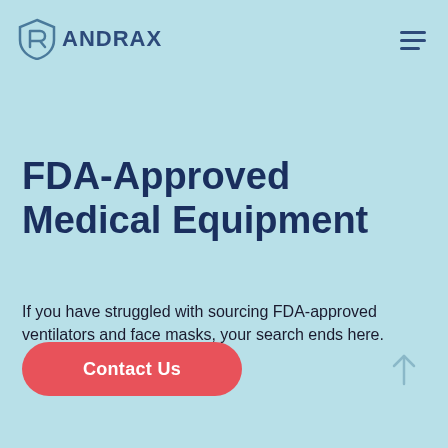[Figure (logo): Randrax logo with shield/R icon and text RANDRAX in dark navy blue]
FDA-Approved Medical Equipment
If you have struggled with sourcing FDA-approved ventilators and face masks, your search ends here.
[Figure (other): Contact Us button - red/coral rounded pill button with white text]
[Figure (other): Upward arrow icon in light blue/gray at bottom right]